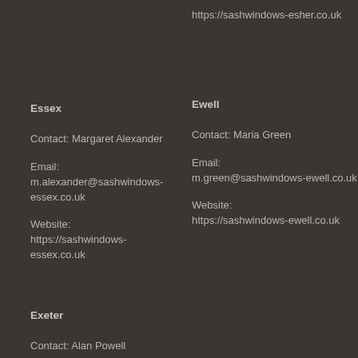https://sashwindows-esher.co.uk
Essex
Contact: Margaret Alexander
Email: m.alexander@sashwindows-essex.co.uk
Website: https://sashwindows-essex.co.uk
Ewell
Contact: Maria Green
Email: m.green@sashwindows-ewell.co.uk
Website: https://sashwindows-ewell.co.uk
Exeter
Contact: Alan Powell
Email: a.powell@sashwindows-exeter.co.uk